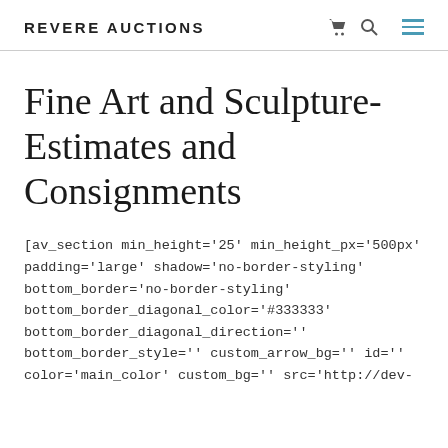REVERE AUCTIONS
Fine Art and Sculpture-Estimates and Consignments
[av_section min_height='25' min_height_px='500px' padding='large' shadow='no-border-styling' bottom_border='no-border-styling' bottom_border_diagonal_color='#333333' bottom_border_diagonal_direction='' bottom_border_style='' custom_arrow_bg='' id='' color='main_color' custom_bg='' src='http://dev-